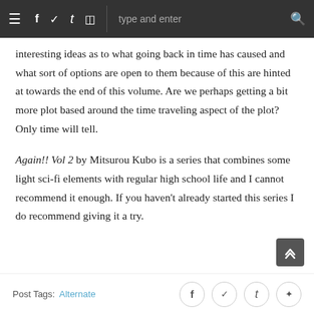≡ f t 𝕥 ☷ type and enter 🔍
interesting ideas as to what going back in time has caused and what sort of options are open to them because of this are hinted at towards the end of this volume. Are we perhaps getting a bit more plot based around the time traveling aspect of the plot? Only time will tell.
Again!! Vol 2 by Mitsurou Kubo is a series that combines some light sci-fi elements with regular high school life and I cannot recommend it enough. If you haven't already started this series I do recommend giving it a try.
Post Tags: Alternate    f  y  t   Pinterest